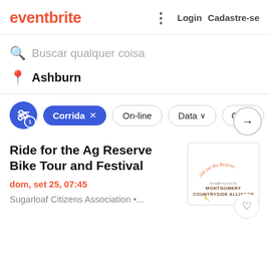eventbrite · Login · Cadastre-se
Buscar qualquer coisa
Ashburn
Corrida × · On-line · Data · Categ
Ride for the Ag Reserve Bike Tour and Festival
dom, set 25, 07:45
Sugarloaf Citizens Association •...
[Figure (illustration): Event logo: Ride for the Reserve Fall Farm Bike Tour, brought to you by Montgomery Countryside Alliance]